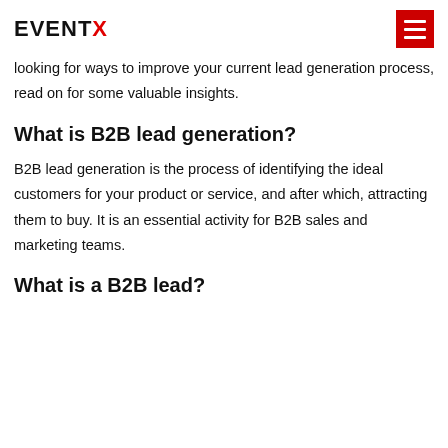EVENTX
looking for ways to improve your current lead generation process, read on for some valuable insights.
What is B2B lead generation?
B2B lead generation is the process of identifying the ideal customers for your product or service, and after which, attracting them to buy. It is an essential activity for B2B sales and marketing teams.
What is a B2B lead?